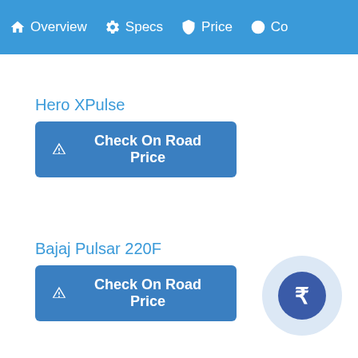Overview  Specs  Price  Co
Hero XPulse
Check On Road Price
Bajaj Pulsar 220F
Check On Road Price